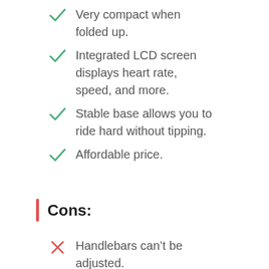Very compact when folded up.
Integrated LCD screen displays heart rate, speed, and more.
Stable base allows you to ride hard without tipping.
Affordable price.
Cons:
Handlebars can't be adjusted.
Cannot connect wrist-based or chest strap heart rate monitor.